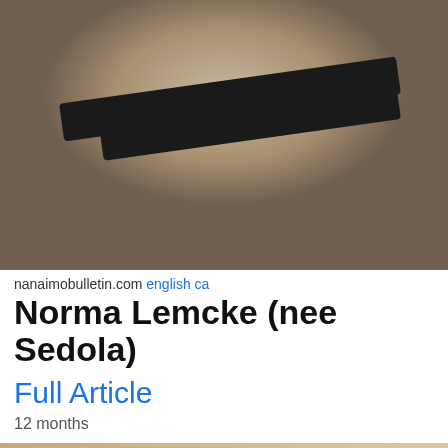[Figure (photo): Grainy black-and-white or low-color photo of an elderly woman with a black bag strap crossing diagonally, wearing a light dotted or patterned top]
nanaimobulletin.com english ca
Norma Lemcke (nee Sedola)
Full Article
12 months
[Figure (photo): Color photo of an elderly woman with short grey-brown hair, glasses, smiling mouth open, wearing a white lace cardigan over a red shirt, seated indoors]